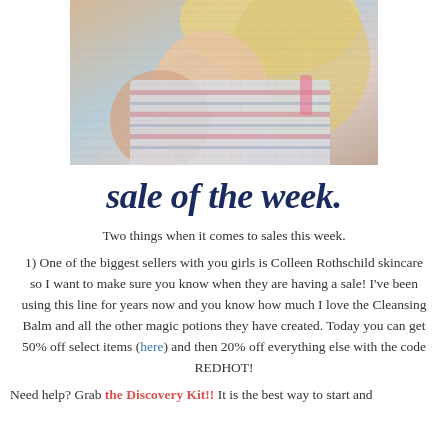[Figure (photo): A woman with blonde hair wearing a striped tank top, photo cropped from shoulders up, warm indoor lighting]
sale of the week.
Two things when it comes to sales this week.
1) One of the biggest sellers with you girls is Colleen Rothschild skincare so I want to make sure you know when they are having a sale! I've been using this line for years now and you know how much I love the Cleansing Balm and all the other magic potions they have created. Today you can get 50% off select items (here) and then 20% off everything else with the code REDHOT!
Need help? Grab the Discovery Kit!! It is the best way to start and